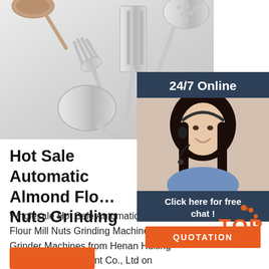[Figure (photo): Kitchen utensils including spatulas, spoons, and a slotted spoon arranged on a light gray background]
[Figure (infographic): 24/7 Online chat support widget showing a woman with headset, 'Click here for free chat!' text, and an orange QUOTATION button]
Hot Sale Automatic Almond Flour Mill Nuts Grinding
Wholesale Hot Sale Automatic Almond Flour Mill Nuts Grinding Machine Spices Grinder Machines from Henan Huiting Machinery Equipment Co., Ltd on m.alibaba.com
[Figure (logo): TOP badge logo with orange/red dots design]